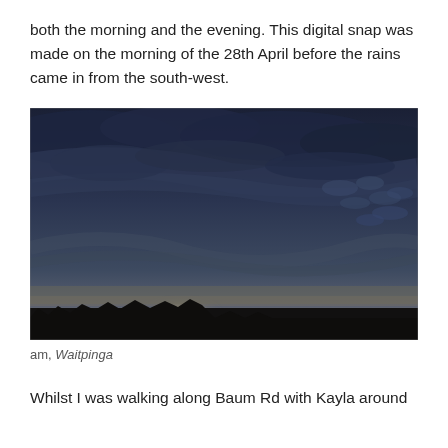both the morning and the evening. This digital snap was made on the morning of the 28th April before the rains came in from the south-west.
[Figure (photo): A dramatic dark stormy sky with grey and blue-toned clouds, a faint bright light visible near the horizon, and a dark silhouetted treeline at the bottom.]
am, Waitpinga
Whilst I was walking along Baum Rd with Kayla around